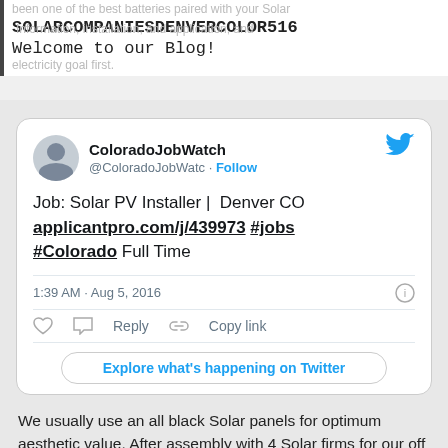SOLARCOMPANIESDENVERCOLOR516
Welcome to our Blog!
[Figure (screenshot): Embedded tweet from @ColoradoJobWatc (ColoradoJobWatch) posted 1:39 AM Aug 5, 2016. Tweet text: Job: Solar PV Installer | Denver CO applicantpro.com/j/439973 #jobs #Colorado Full Time. Includes Follow button, heart/reply/copy link actions, and Explore what's happening on Twitter button.]
We usually use an all black Solar panels for optimum aesthetic value. After assembly with 4 Solar firms for our off grid farm, we settled on Covenant Solar Tech.